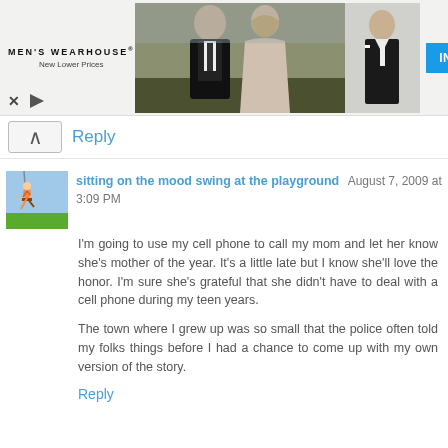[Figure (other): Men's Wearhouse advertisement banner showing a couple in formal wedding attire and a man in a tuxedo, with an INFO button]
Reply
sitting on the mood swing at the playground  August 7, 2009 at 3:09 PM
I'm going to use my cell phone to call my mom and let her know she's mother of the year. It's a little late but I know she'll love the honor. I'm sure she's grateful that she didn't have to deal with a cell phone during my teen years.

The town where I grew up was so small that the police often told my folks things before I had a chance to come up with my own version of the story.
Reply